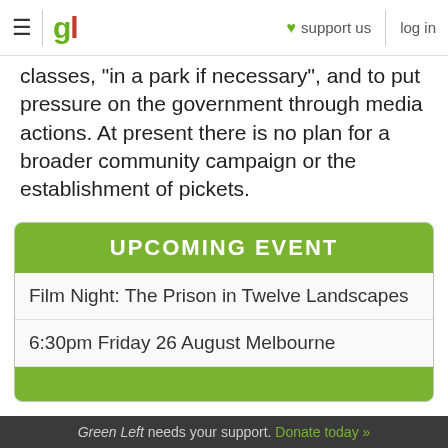≡ | gl ♥ support us  log in
classes, "in a park if necessary", and to put pressure on the government through media actions. At present there is no plan for a broader community campaign or the establishment of pickets.
UPCOMING EVENT
Film Night: The Prison in Twelve Landscapes
6:30pm Friday 26 August Melbourne
Green Left needs your support. Donate today »